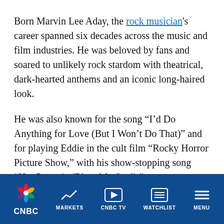Born Marvin Lee Aday, the rock musician's career spanned six decades across the music and film industries. He was beloved by fans and soared to unlikely rock stardom with theatrical, dark-hearted anthems and an iconic long-haired look.
He was also known for the song “I’d Do Anything for Love (But I Won’t Do That)” and for playing Eddie in the cult film “Rocky Horror Picture Show,” with his show-stopping song “Hot Patootie (Bless My Soul).”
CNBC | MARKETS | CNBC TV | WATCHLIST | MENU